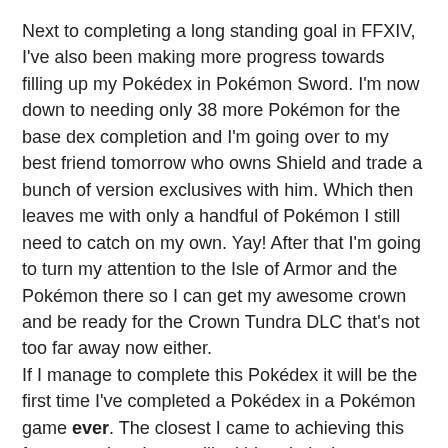Next to completing a long standing goal in FFXIV, I've also been making more progress towards filling up my Pokédex in Pokémon Sword. I'm now down to needing only 38 more Pokémon for the base dex completion and I'm going over to my best friend tomorrow who owns Shield and trade a bunch of version exclusives with him. Which then leaves me with only a handful of Pokémon I still need to catch on my own. Yay! After that I'm going to turn my attention to the Isle of Armor and the Pokémon there so I can get my awesome crown and be ready for the Crown Tundra DLC that's not too far away now either.
If I manage to complete this Pokédex it will be the first time I've completed a Pokédex in a Pokémon game ever. The closest I came to achieving this feat was when I was still a kid and playing my copy of Pokémon Blue. I was up to 146 Pokémon caught for the dex but for some reason I resetted my game after that, much to my regrets. Afterwards I've never come close to completion again, with the best try on Pokémon Black but that were just so many Pokémon.. That I basically gave up after over 70 hours played.
In Sword I've clocked in around 65 hours now, making it the game